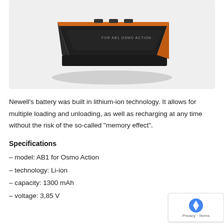[Figure (photo): A black rectangular battery with orange trim/edges, partially shown against a light gray background. The battery appears to be a DJI-compatible Newell battery for Osmo Action.]
Newell's battery was built in lithium-ion technology. It allows for multiple loading and unloading, as well as recharging at any time without the risk of the so-called "memory effect".
Specifications
– model: AB1 for Osmo Action
– technology: Li-ion
– capacity: 1300 mAh
– voltage: 3,85 V